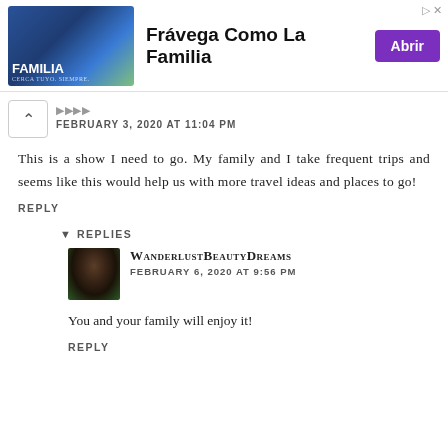[Figure (other): Advertisement banner for Frávega showing 'FAMILIA' branding with an image of people, text 'Frávega Como La Familia', and a purple 'Abrir' button]
FEBRUARY 3, 2020 AT 11:04 PM
This is a show I need to go. My family and I take frequent trips and seems like this would help us with more travel ideas and places to go!
REPLY
REPLIES
WanderlustBeautyDreams
FEBRUARY 6, 2020 AT 9:56 PM
You and your family will enjoy it!
REPLY